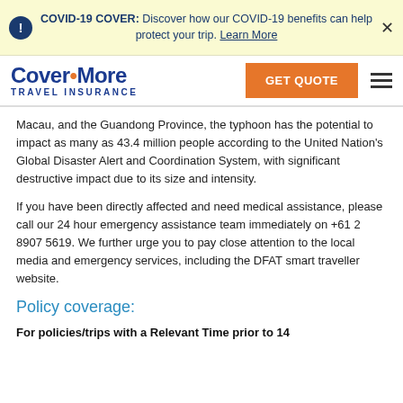COVID-19 COVER: Discover how our COVID-19 benefits can help protect your trip. Learn More
[Figure (logo): Cover-More Travel Insurance logo with orange GET QUOTE button and hamburger menu]
Macau, and the Guandong Province, the typhoon has the potential to impact as many as 43.4 million people according to the United Nation's Global Disaster Alert and Coordination System, with significant destructive impact due to its size and intensity.
If you have been directly affected and need medical assistance, please call our 24 hour emergency assistance team immediately on +61 2 8907 5619. We further urge you to pay close attention to the local media and emergency services, including the DFAT smart traveller website.
Policy coverage:
For policies/trips with a Relevant Time prior to 14